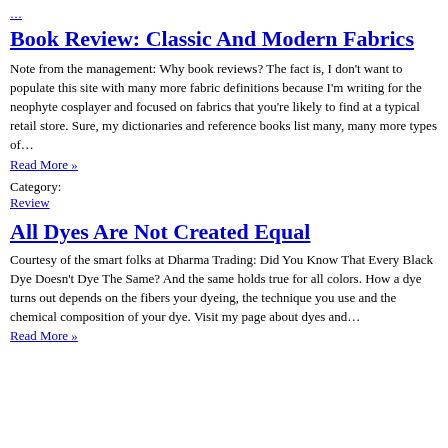…
Book Review: Classic And Modern Fabrics
Note from the management: Why book reviews? The fact is, I don't want to populate this site with many more fabric definitions because I'm writing for the neophyte cosplayer and focused on fabrics that you're likely to find at a typical retail store. Sure, my dictionaries and reference books list many, many more types of… Read More »
Category: Review
All Dyes Are Not Created Equal
Courtesy of the smart folks at Dharma Trading: Did You Know That Every Black Dye Doesn't Dye The Same? And the same holds true for all colors. How a dye turns out depends on the fibers your dyeing, the technique you use and the chemical composition of your dye. Visit my page about dyes and… Read More »